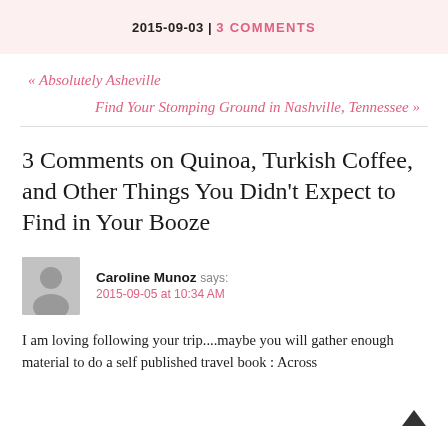2015-09-03 | 3 COMMENTS
« Absolutely Asheville
Find Your Stomping Ground in Nashville, Tennessee »
3 Comments on Quinoa, Turkish Coffee, and Other Things You Didn't Expect to Find in Your Booze
Caroline Munoz says:
2015-09-05 at 10:34 AM
I am loving following your trip....maybe you will gather enough material to do a self published travel book : Across